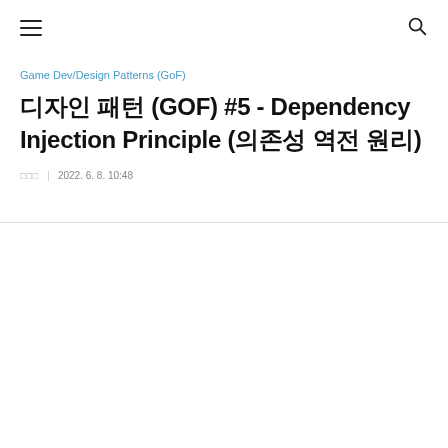[menu icon] [search icon]
Game Dev/Design Patterns (GoF)
디자인 패턴 (GOF) #5 - Dependency Injection Principle (의존성 역전 원리)
□□□  |  2022. 6. 8. 10:48